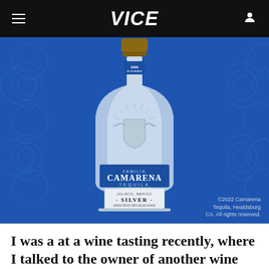VICE
[Figure (photo): A bottle of Familia Camarena Tequila Silver on a blue decorative background with swirl patterns. The bottle has a wooden cork stopper, a blue label reading '100%', the Camarena crest embossed on the glass, a blue band reading 'FAMILIA CAMARENA TEQUILA', and a lower label reading 'SILVER'. Watermark text reads '©2022 Camarena Tequila, Healdsburg CA. All rights reserved.']
I was a at a wine tasting recently, where I talked to the owner of another wine company